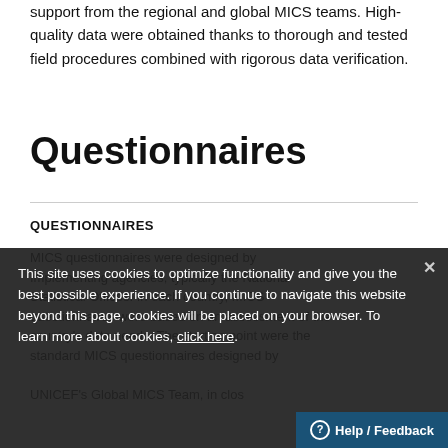support from the regional and global MICS teams. High-quality data were obtained thanks to thorough and tested field procedures combined with rigorous data verification.
Questionnaires
QUESTIONNAIRES
MICS questionnaires were designed by Implementing agencies, typically the National Statistical Offices. In each country, MICS questionnaires were based on an assessment of the country's data needs. The starting point were the standard MICS questionnaires designed by UNICEF's Global MICS Team, in clos...
This site uses cookies to optimize functionality and give you the best possible experience. If you continue to navigate this website beyond this page, cookies will be placed on your browser. To learn more about cookies, click here.